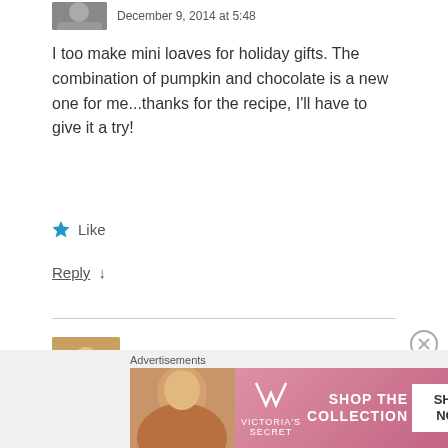December 9, 2014 at 5:48
I too make mini loaves for holiday gifts. The combination of pumpkin and chocolate is a new one for me...thanks for the recipe, I'll have to give it a try!
Like
Reply ↓
nancyc Post author
December 9, 2014 at 5:16
Advertisements
[Figure (infographic): Victoria's Secret advertisement banner with 'SHOP THE COLLECTION' text and 'SHOP NOW' button on pink background]